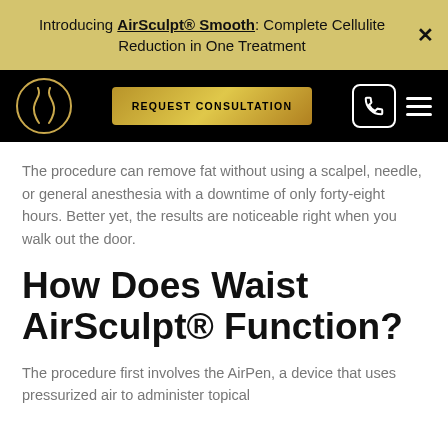Introducing AirSculpt® Smooth: Complete Cellulite Reduction in One Treatment
[Figure (logo): AirSculpt logo — two stylized flame/body shapes inside a gold circle, on black navigation bar with REQUEST CONSULTATION button and phone/menu icons]
The procedure can remove fat without using a scalpel, needle, or general anesthesia with a downtime of only forty-eight hours. Better yet, the results are noticeable right when you walk out the door.
How Does Waist AirSculpt® Function?
The procedure first involves the AirPen, a device that uses pressurized air to administer topical